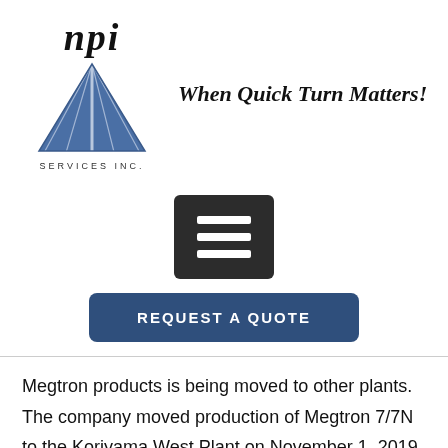[Figure (logo): NPI Services Inc. logo with triangle/diamond graphic and italic serif 'npi' text above, 'SERVICES INC.' below]
When Quick Turn Matters!
[Figure (other): Hamburger menu icon — dark square button with three white horizontal lines]
REQUEST A QUOTE
Megtron products is being moved to other plants. The company moved production of Megtron 7/7N to the Koriyama West Plant on November 1, 2019. Megtron 6K 1027 is not available, but Megtron 6G, the only